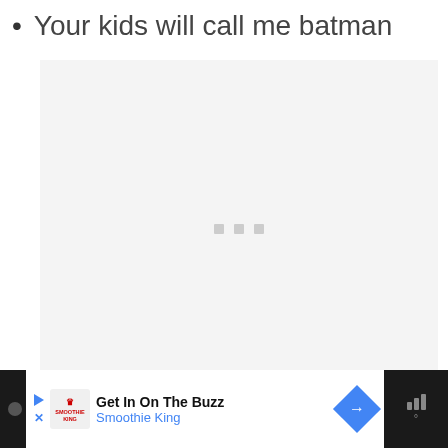Your kids will call me batman
[Figure (other): A large light gray content area placeholder with three small gray loading dots in the center]
[Figure (other): Mobile advertisement bar at bottom: dark background with Smoothie King ad showing 'Get In On The Buzz' headline and 'Smoothie King' subline in blue, navigation arrow icon, and weather/signal icon on right]